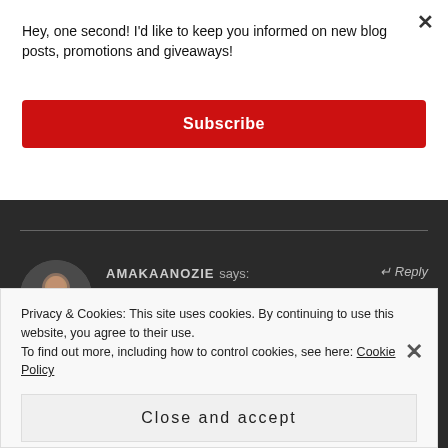Hey, one second! I'd like to keep you informed on new blog posts, promotions and giveaways!
Subscribe
×
AMAKAANOZIE says:
March 25, 2019 at 12:31 pm
↵ Reply
Privacy & Cookies: This site uses cookies. By continuing to use this website, you agree to their use.
To find out more, including how to control cookies, see here: Cookie Policy
Close and accept